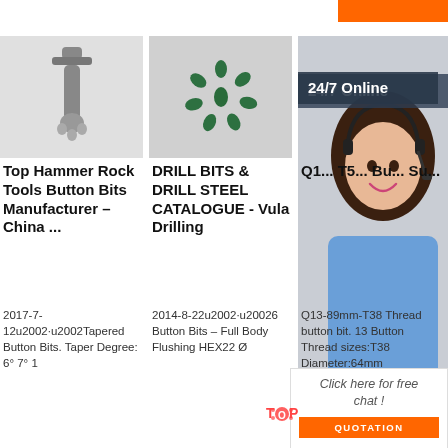[Figure (photo): Top Hammer Rock Tool - metal button bit component, grey metallic, fork-shaped]
[Figure (photo): Drill bits arranged in a star/flower pattern on light background, small green-coated button bits]
[Figure (photo): Customer service representative woman with headset smiling, 24/7 Online panel overlay]
Top Hammer Rock Tools Button Bits Manufacturer – China ...
DRILL BITS & DRILL STEEL CATALOGUE - Vula Drilling
Q1... T5... Bu... Su...
2017-7-12u2002·u2002Tapered Button Bits. Taper Degree: 6° 7° 1
2014-8-22u2002·u20026 Button Bits – Full Body Flushing HEX22 Ø
Q13-89mm-T38 Thread button bit. 13 Button Thread sizes:T38 Diameter:64mm
24/7 Online
Click here for free chat !
QUOTATION